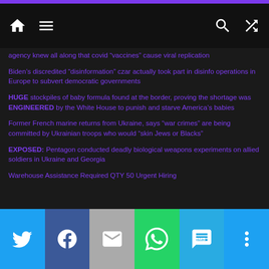Navigation bar with home, menu, search, and shuffle icons
agency knew all along that covid “vaccines” cause viral replication
Biden’s discredited “disinformation” czar actually took part in disinfo operations in Europe to subvert democratic governments
HUGE stockpiles of baby formula found at the border, proving the shortage was ENGINEERED by the White House to punish and starve America’s babies
Former French marine returns from Ukraine, says “war crimes” are being committed by Ukrainian troops who would “skin Jews or Blacks”
EXPOSED: Pentagon conducted deadly biological weapons experiments on allied soldiers in Ukraine and Georgia
Warehouse Assistance Required QTY 50 Urgent Hiring
Share buttons: Twitter, Facebook, Email, WhatsApp, SMS, More